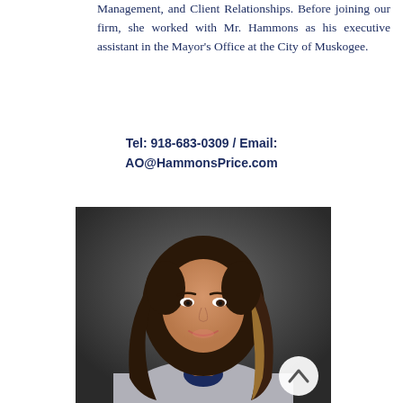Management, and Client Relationships. Before joining our firm, she worked with Mr. Hammons as his executive assistant in the Mayor's Office at the City of Muskogee.
Tel: 918-683-0309 / Email: AO@HammonsPrice.com
[Figure (photo): Professional headshot of a young woman with long wavy dark brown hair with highlights, wearing a grey blazer and dark collared shirt, smiling, against a dark grey background. A circular scroll-up button is visible in the lower right of the photo.]